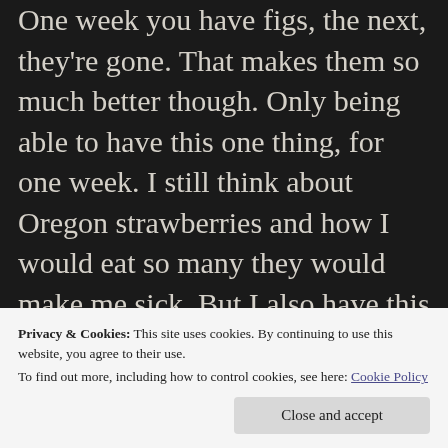One week you have figs, the next, they're gone. That makes them so much better though. Only being able to have this one thing, for one week. I still think about Oregon strawberries and how I would eat so many they would make me sick. But I also have this memory in my brain that tells me what a strawberry is supposed to taste like and I will forever know it on my tongue.
Maybe that's how I feel these days. The weeks
Privacy & Cookies: This site uses cookies. By continuing to use this website, you agree to their use.
To find out more, including how to control cookies, see here: Cookie Policy